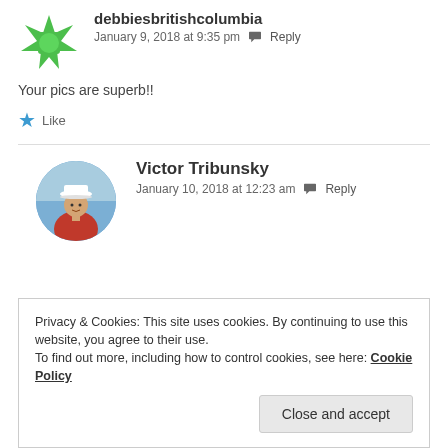[Figure (photo): Green geometric avatar icon for user debbiesbritishcolumbia]
debbiesbritishcolumbia
January 9, 2018 at 9:35 pm Reply
Your pics are superb!!
Like
[Figure (photo): Profile photo of Victor Tribunsky — man in white captain hat and red polo shirt]
Victor Tribunsky
January 10, 2018 at 12:23 am Reply
Privacy & Cookies: This site uses cookies. By continuing to use this website, you agree to their use.
To find out more, including how to control cookies, see here: Cookie Policy
Close and accept